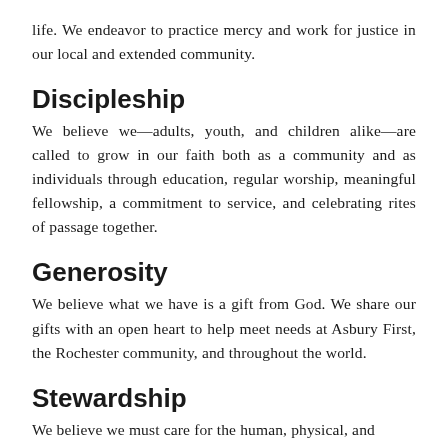life. We endeavor to practice mercy and work for justice in our local and extended community.
Discipleship
We believe we—adults, youth, and children alike—are called to grow in our faith both as a community and as individuals through education, regular worship, meaningful fellowship, a commitment to service, and celebrating rites of passage together.
Generosity
We believe what we have is a gift from God. We share our gifts with an open heart to help meet needs at Asbury First, the Rochester community, and throughout the world.
Stewardship
We believe we must care for the human, physical, and